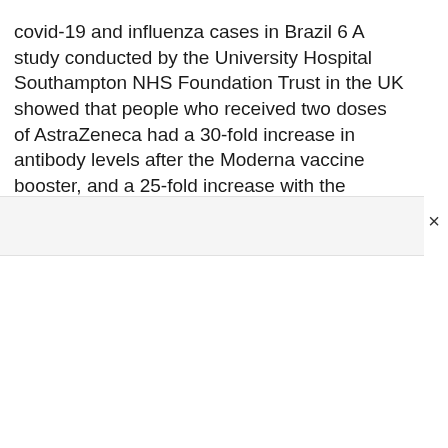covid-19 and influenza cases in Brazil 6 A study conducted by the University Hospital Southampton NHS Foundation Trust in the UK showed that people who received two doses of AstraZeneca had a 30-fold increase in antibody levels after the Moderna vaccine booster, and a 25-fold increase with the booster of the vaccine. pfizerArthur Menescal/Special Metropolis